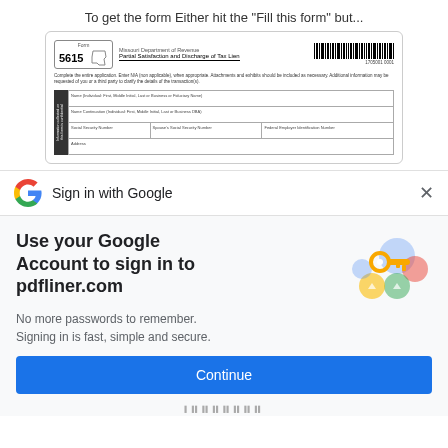To get the form Either hit the "Fill this form" but...
[Figure (screenshot): Screenshot of Missouri Department of Revenue Form 5615 - Partial Satisfaction and Discharge of Tax Lien, showing the form header with barcode, instructions, and input fields for personal information]
[Figure (infographic): Google Sign-in modal dialog with Google logo, 'Sign in with Google' header text, close X button, 'Use your Google Account to sign in to pdfliner.com' headline, 'No more passwords to remember. Signing in is fast, simple and secure.' subtext, key/security graphic, and a blue Continue button]